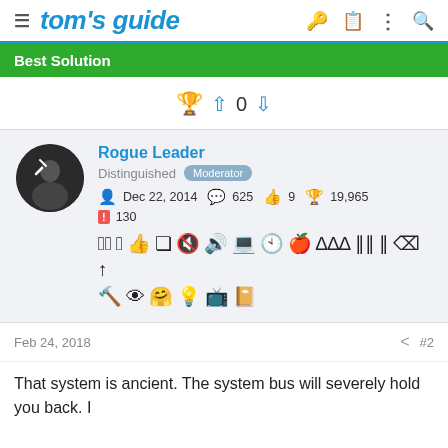tom's guide
Best Solution
🏆 ↑ 0 ↓
Rogue Leader
Distinguished Moderator
Dec 22, 2014  625  9  19,965
130
Feb 24, 2018  #2
That system is ancient. The system bus will severely hold you back. I